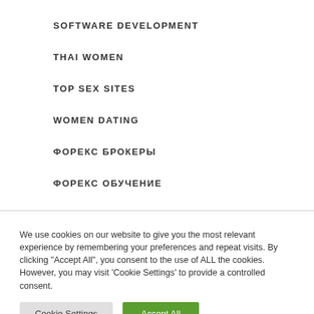SOFTWARE DEVELOPMENT
THAI WOMEN
TOP SEX SITES
WOMEN DATING
ФОРЕКС БРОКЕРЫ
ФОРЕКС ОБУЧЕНИЕ
We use cookies on our website to give you the most relevant experience by remembering your preferences and repeat visits. By clicking "Accept All", you consent to the use of ALL the cookies. However, you may visit 'Cookie Settings' to provide a controlled consent.